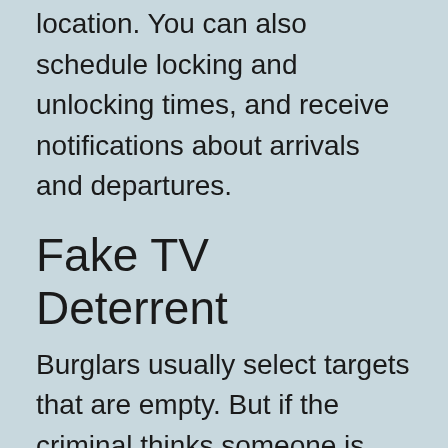location. You can also schedule locking and unlocking times, and receive notifications about arrivals and departures.
Fake TV Deterrent
Burglars usually select targets that are empty. But if the criminal thinks someone is watching TV in the home, that might be incentive to move on. The Fake TV produces the same type of light pattern on the wall that regular TV programs make, like scene changes, and fading. The built in light sensor and timer allows the Fake TV to turn on if it gets dark